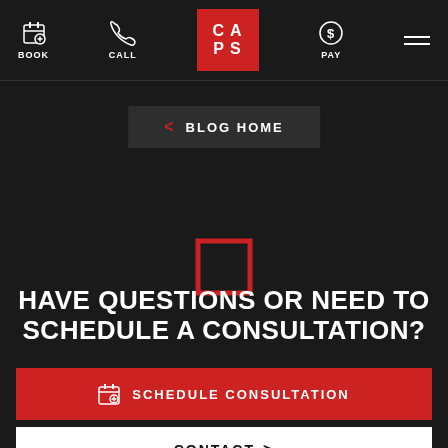BOOK  CALL  CAPS  PAY
< BLOG HOME
[Figure (logo): Red square outline icon]
HAVE QUESTIONS OR NEED TO SCHEDULE A CONSULTATION?
SCHEDULE CONSULTATION
CONTACT >